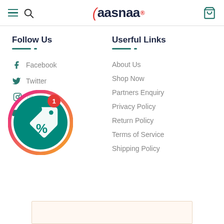aasnaa - navigation header with hamburger menu, search icon, logo, and cart icon
Follow Us
Facebook
Twitter
Instagram
Youtube
Userful Links
About Us
Shop Now
Partners Enquiry
Privacy Policy
Return Policy
Terms of Service
Shipping Policy
[Figure (illustration): Teal circular coupon/discount badge with a percentage tag icon and a red notification badge showing '1', surrounded by a pink/orange ring]